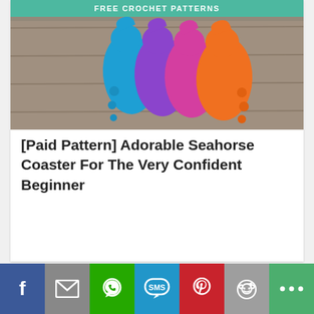[Figure (photo): Colorful crocheted seahorse coasters in blue, purple, pink, and orange arranged overlapping on a wooden surface, with a teal 'FREE CROCHET PATTERNS' banner at the top]
[Paid Pattern] Adorable Seahorse Coaster For The Very Confident Beginner
[Figure (infographic): Social sharing bar with icons: Facebook (blue), Mail (gray), WhatsApp (green), SMS (blue), Pinterest (red), Reddit (gray), More (green)]